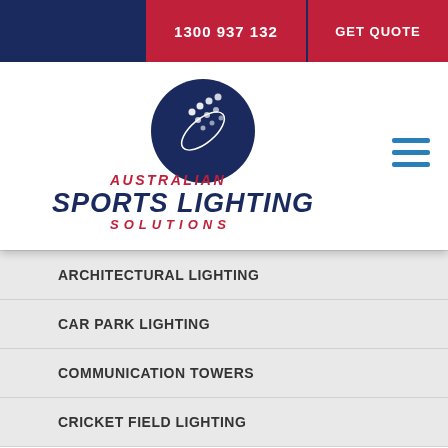1300 937 132 | GET QUOTE
[Figure (logo): Australian Sports Lighting Solutions logo — circular dark blue emblem with stylized light beams, company name in italic bold dark blue and red text]
ARCHITECTURAL LIGHTING
CAR PARK LIGHTING
COMMUNICATION TOWERS
CRICKET FIELD LIGHTING